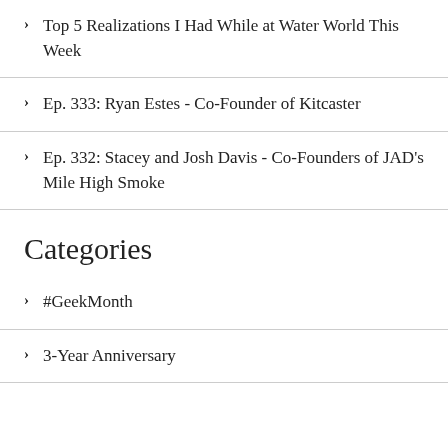Top 5 Realizations I Had While at Water World This Week
Ep. 333: Ryan Estes – Co-Founder of Kitcaster
Ep. 332: Stacey and Josh Davis – Co-Founders of JAD's Mile High Smoke
Categories
#GeekMonth
3-Year Anniversary